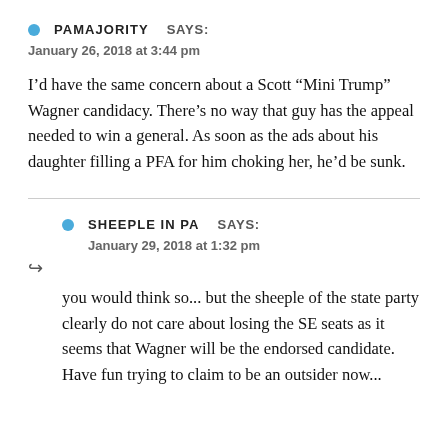PAMAJORITY   SAYS:
January 26, 2018 at 3:44 pm
I’d have the same concern about a Scott “Mini Trump” Wagner candidacy. There’s no way that guy has the appeal needed to win a general. As soon as the ads about his daughter filling a PFA for him choking her, he’d be sunk.
SHEEPLE IN PA   SAYS:
January 29, 2018 at 1:32 pm
you would think so... but the sheeple of the state party clearly do not care about losing the SE seats as it seems that Wagner will be the endorsed candidate. Have fun trying to claim to be an outsider now...